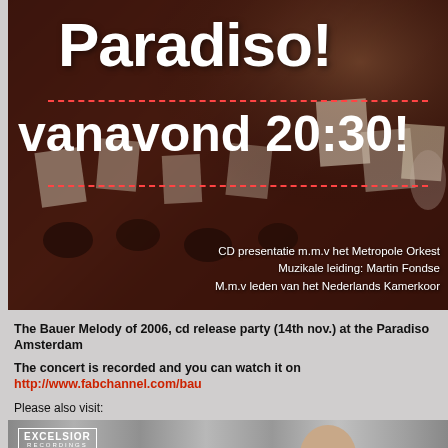[Figure (photo): Orchestra concert photo with dark reddish tones, featuring musicians with sheet music stands. Overlaid with large white text 'Paradiso!' and 'vanavond 20:30!' with red dashed lines, and smaller text about CD presentation with Metropole Orkest.]
The Bauer Melody of 2006, cd release party (14th nov.) at the Paradiso Amsterdam
The concert is recorded and you can watch it on http://www.fabchannel.com/bauer
Please also visit:
http://www.bauer-plaza.com
http://www.myspace.com/popduobauer
[Figure (photo): Bottom photo showing a person (partially visible head/shoulders) against a gray curtain background, with Excelsior Recordings logo in top left corner.]